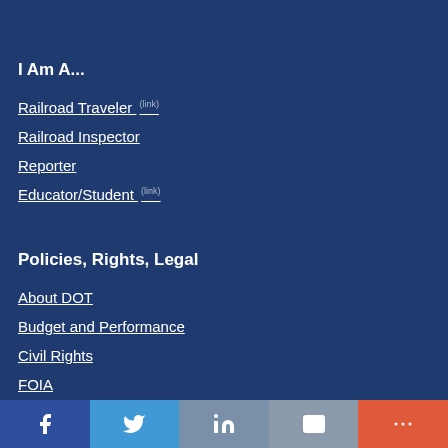I Am A...
Railroad Traveler (link)
Railroad Inspector
Reporter
Educator/Student (link)
Policies, Rights, Legal
About DOT
Budget and Performance
Civil Rights
FOIA
Social share bar: Facebook, Twitter, LinkedIn, Email, More